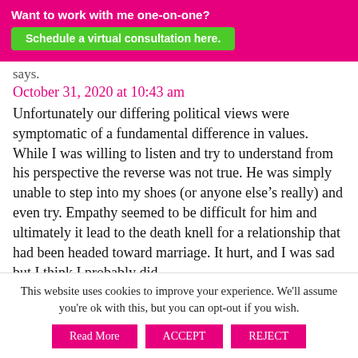Want to work with me one-on-one? Schedule a virtual consultation here.
says.
October 31, 2020 at 10:43 am
Unfortunately our differing political views were symptomatic of a fundamental difference in values. While I was willing to listen and try to understand from his perspective the reverse was not true. He was simply unable to step into my shoes (or anyone else's really) and even try. Empathy seemed to be difficult for him and ultimately it lead to the death knell for a relationship that had been headed toward marriage. It hurt, and I was sad but I think I probably did
This website uses cookies to improve your experience. We'll assume you're ok with this, but you can opt-out if you wish. Read More ACCEPT REJECT